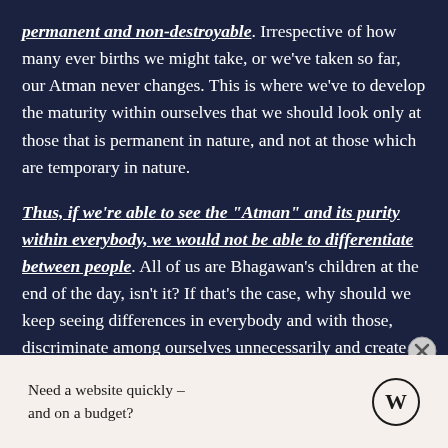permanent and non-destroyable. Irrespective of how many ever births we might take, or we've taken so far, our Atman never changes. This is where we've to develop the maturity within ourselves that we should look only at those that is permanent in nature, and not at those which are temporary in nature.
Thus, if we're able to see the "Atman" and its purity within everybody, we would not be able to differentiate between people. All of us are Bhagawan's children at the end of the day, isn't it? If that's the case, why should we keep seeing differences in everybody and with those, discriminate among ourselves unnecessarily and create issues unwantedly? The moment we start discriminating, we would slowly start losing that divine love and compassion towards all living beings. Only if we start seeing the "Atman" in every living being in this world we
Need a website quickly – and on a budget?